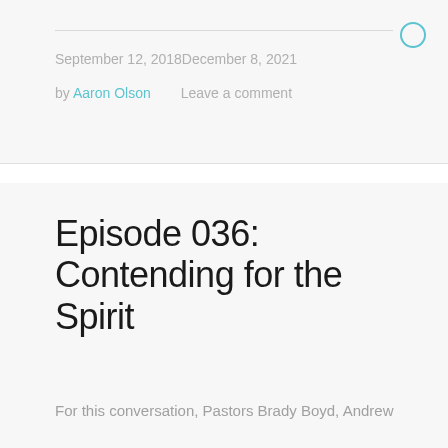September 12, 2018December 8, 2021
by Aaron Olson     Leave a comment
Episode 036: Contending for the Spirit
For this conversation, Pastors Brady Boyd, Andrew